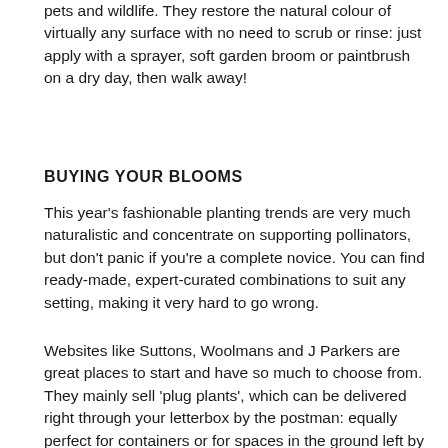pets and wildlife. They restore the natural colour of virtually any surface with no need to scrub or rinse: just apply with a sprayer, soft garden broom or paintbrush on a dry day, then walk away!
BUYING YOUR BLOOMS
This year's fashionable planting trends are very much naturalistic and concentrate on supporting pollinators, but don't panic if you're a complete novice. You can find ready-made, expert-curated combinations to suit any setting, making it very hard to go wrong.
Websites like Suttons, Woolmans and J Parkers are great places to start and have so much to choose from. They mainly sell 'plug plants', which can be delivered right through your letterbox by the postman: equally perfect for containers or for spaces in the ground left by anything that didn't quite make it